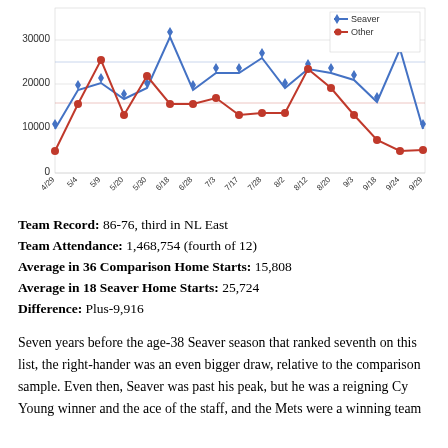[Figure (line-chart): ]
Team Record: 86-76, third in NL East
Team Attendance: 1,468,754 (fourth of 12)
Average in 36 Comparison Home Starts: 15,808
Average in 18 Seaver Home Starts: 25,724
Difference: Plus-9,916
Seven years before the age-38 Seaver season that ranked seventh on this list, the right-hander was an even bigger draw, relative to the comparison sample. Even then, Seaver was past his peak, but he was a reigning Cy Young winner and the ace of the staff, and the Mets were a winning team